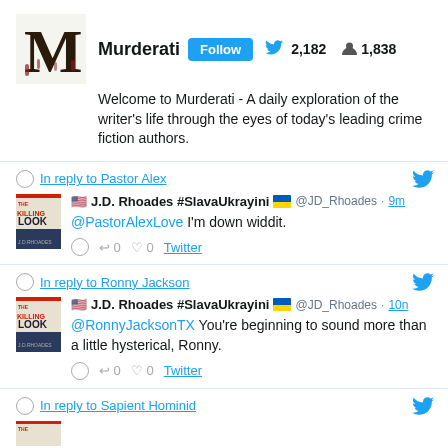[Figure (screenshot): Twitter/social media feed screenshot showing Murderati profile and tweets by J.D. Rhoades]
Murderati Follow 🐦 2,182 👤 1,838
Welcome to Murderati - A daily exploration of the writer's life through the eyes of today's leading crime fiction authors.
In reply to Pastor Alex
J.D. Rhoades #SlavaUkrayini 🇺🇦 @JD_Rhoades · 9m
@PastorAlexLove I'm down widdit.
In reply to Ronny Jackson
J.D. Rhoades #SlavaUkrayini 🇺🇦 @JD_Rhoades · 10n
@RonnyJacksonTX You're beginning to sound more than a little hysterical, Ronny.
In reply to Sapient Hominid